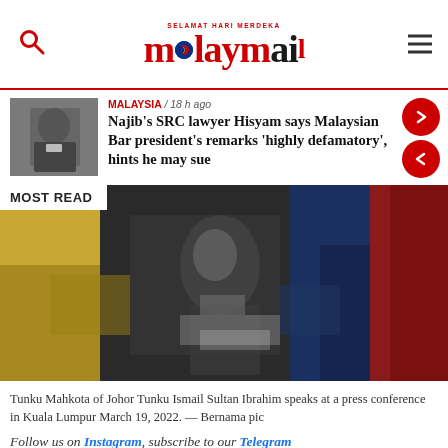SELAMAT HARI MERDEKA — Malay Mail
MALAYSIA / 18 h ago
Najib's SRC lawyer Hisyam says Malaysian Bar president's remarks 'highly defamatory', hints he may sue
MOST READ
[Figure (photo): Blurred photo of Tunku Mahkota of Johor Tunku Ismail Sultan Ibrahim speaking at a press conference, with yellow, dark, blue and red tones in background.]
Tunku Mahkota of Johor Tunku Ismail Sultan Ibrahim speaks at a press conference in Kuala Lumpur March 19, 2022. — Bernama pic
Follow us on Instagram, subscribe to our Telegram